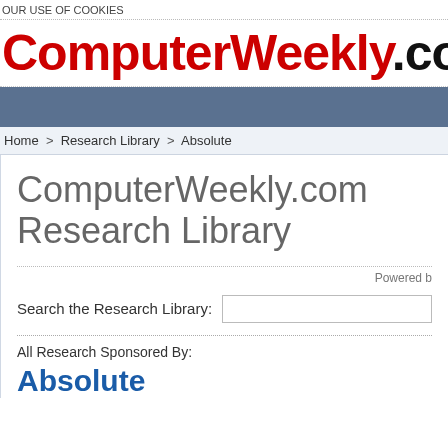OUR USE OF COOKIES
[Figure (logo): ComputerWeekly.com logo in large bold font, 'ComputerWeekly' in red and '.com' in black]
Home > Research Library > Absolute
ComputerWeekly.com Research Library
Powered b
Search the Research Library:
All Research Sponsored By:
Absolute